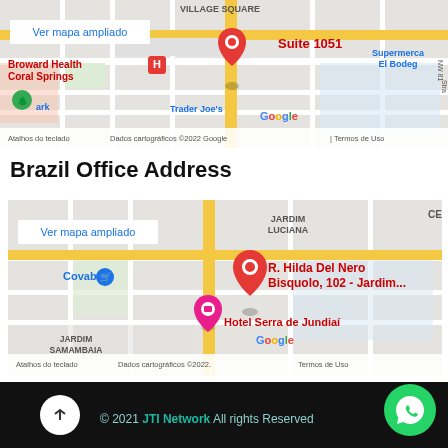[Figure (map): Google Maps screenshot showing Suite 1051 location near Broward Health Coral Springs, with 'Ver mapa ampliado' link visible]
Brazil Office Address
[Figure (map): Google Maps screenshot showing R. Hilda Del Nero Bisquolo, 102 - Jardim... location near Hotel Serra de Jundiaí, with 'Ver mapa ampliado' link visible]
© 2021 JTI Network All rights Reserved